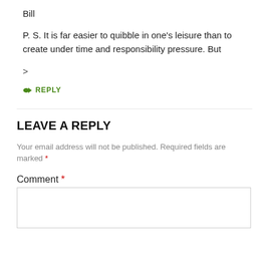Bill
P. S. It is far easier to quibble in one’s leisure than to create under time and responsibility pressure. But
>
↪ REPLY
LEAVE A REPLY
Your email address will not be published. Required fields are marked *
Comment *